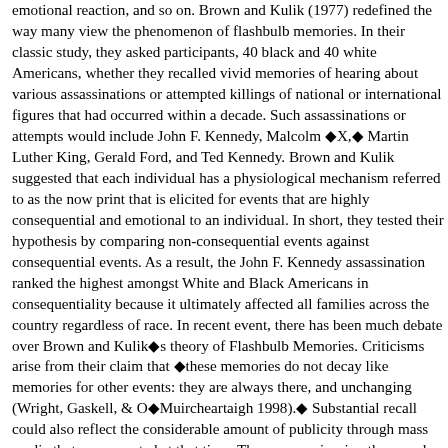emotional reaction, and so on. Brown and Kulik (1977) redefined the way many view the phenomenon of flashbulb memories. In their classic study, they asked participants, 40 black and 40 white Americans, whether they recalled vivid memories of hearing about various assassinations or attempted killings of national or international figures that had occurred within a decade. Such assassinations or attempts would include John F. Kennedy, Malcolm ◆X,◆ Martin Luther King, Gerald Ford, and Ted Kennedy. Brown and Kulik suggested that each individual has a physiological mechanism referred to as the now print that is elicited for events that are highly consequential and emotional to an individual. In short, they tested their hypothesis by comparing non-consequential events against consequential events. As a result, the John F. Kennedy assassination ranked the highest amongst White and Black Americans in consequentiality because it ultimately affected all families across the country regardless of race. In recent event, there has been much debate over Brown and Kulik◆s theory of Flashbulb Memories. Criticisms arise from their claim that ◆these memories do not decay like memories for other events: they are always there, and unchanging (Wright, Gaskell, & O◆Muircheartaigh 1998).◆ Substantial recall could also reflect the considerable amount of publicity through mass media that was reported at that time. These memories, in other words, can be encoded by means of rehearsal, repetition. Also, the quality of the responses and ability to vividly recall such crucial events give reasons for psychologists to dispute the accuracy and reliability behind this theory. Regardless, their research has enhanced the way we view the physiological makeup underlying memory recall. The increasing popularity of this subject allows researchers to learn more about this fascinating psychological process that is most likely